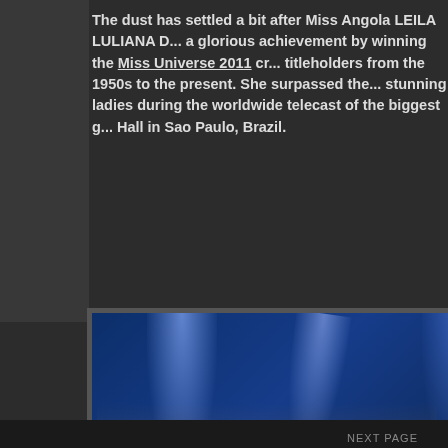The dust has settled a bit after Miss Angola LEILA LULIANA D... a glorious achievement by winning the Miss Universe 2011 cr... titleholders from the 1950s to the present. She surpassed the... stunning ladies during the worldwide telecast of the biggest g... Hall in Sao Paulo, Brazil.
[Figure (photo): Two women in formal/pageant attire on stage at Miss Universe 2011 in Sao Paulo, Brazil. A woman in a white gown with long wavy hair on the left, and a woman in white with her hair up on the right. Blue stage lighting with Arena watermark visible.]
First... Ukra... Pris... Run... Sup... Com... Up Z... favo... Ven... furth... th...
Advertisements
[Figure (infographic): WordPress.com advertisement banner: 'Simplified pricing for everything you need.' with WordPress.com logo on right side. Purple/pink gradient background.]